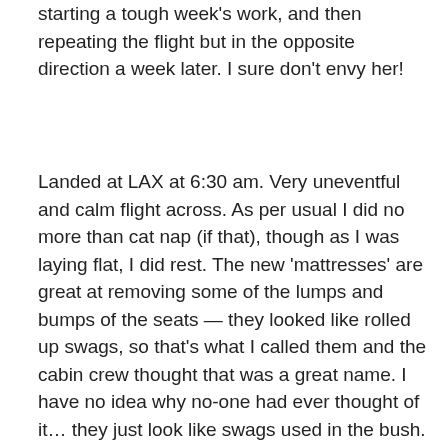starting a tough week's work, and then repeating the flight but in the opposite direction a week later. I sure don't envy her!
Landed at LAX at 6:30 am. Very uneventful and calm flight across. As per usual I did no more than cat nap (if that), though as I was laying flat, I did rest. The new 'mattresses' are great at removing some of the lumps and bumps of the seats — they looked like rolled up swags, so that's what I called them and the cabin crew thought that was a great name. I have no idea why no-one had ever thought of it… they just look like swags used in the bush. But then again, maybe none of the cabin crew has ever roughed it in the bush in a swag ;-). However, they've no doubt all sung Waltzing Matilda at some point. The light doona replacements for the blankets were good too. Thin, but not too hot or too cold.